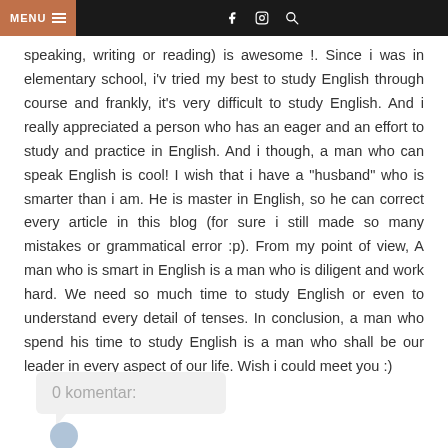MENU | f | instagram | search
speaking, writing or reading) is awesome !. Since i was in elementary school, i'v tried my best to study English through course and frankly, it's very difficult to study English. And i really appreciated a person who has an eager and an effort to study and practice in English. And i though, a man who can speak English is cool! I wish that i have a "husband" who is smarter than i am. He is master in English, so he can correct every article in this blog (for sure i still made so many mistakes or grammatical error :p). From my point of view, A man who is smart in English is a man who is diligent and work hard. We need so much time to study English or even to understand every detail of tenses. In conclusion, a man who spend his time to study English is a man who shall be our leader in every aspect of our life. Wish i could meet you :)
0 komentar: